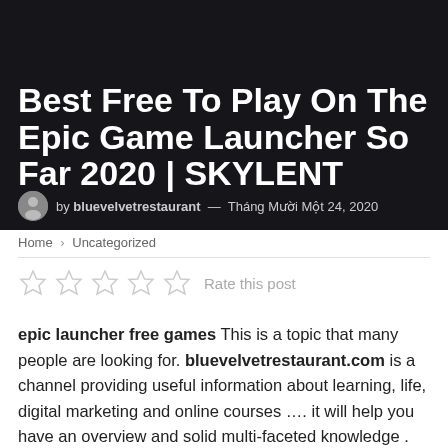Best Free To Play On The Epic Game Launcher So Far 2020 | SKYLENT
by bluevelvetrestaurant — Tháng Mười Một 24, 2020
Home › Uncategorized
[Figure (other): Five empty star rating icons with label 'Rate this post']
epic launcher free games This is a topic that many people are looking for. bluevelvetrestaurant.com is a channel providing useful information about learning, life, digital marketing and online courses …. it will help you have an overview and solid multi-faceted knowledge . Today, bluevelvetrestaurant.com would like to introduce to you Best Free To Play On The Epic Game Launcher So Far